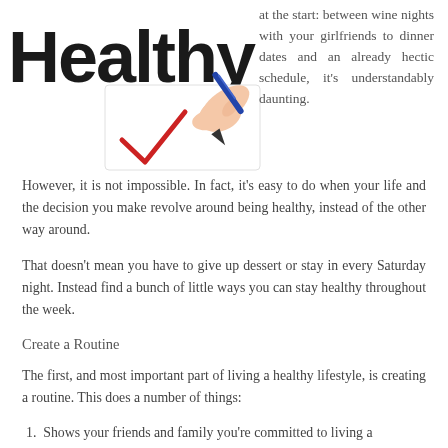[Figure (illustration): Large handwritten 'Healthy' text in black with a hand holding a blue pen making a red checkmark on paper]
at the start: between wine nights with your girlfriends to dinner dates and an already hectic schedule, it's understandably daunting. However, it is not impossible. In fact, it's easy to do when your life and the decision you make revolve around being healthy, instead of the other way around.
That doesn't mean you have to give up dessert or stay in every Saturday night. Instead find a bunch of little ways you can stay healthy throughout the week.
Create a Routine
The first, and most important part of living a healthy lifestyle, is creating a routine. This does a number of things:
1.  Shows your friends and family you're committed to living a